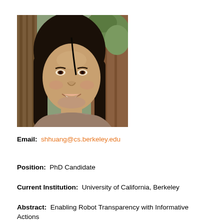[Figure (photo): Headshot of a young Asian woman with long dark hair, smiling, wearing a grey top, outdoors with wooden fence and green foliage in background.]
Email:  shhuang@cs.berkeley.edu
Position:  PhD Candidate
Current Institution:  University of California, Berkeley
Abstract:  Enabling Robot Transparency with Informative Actions